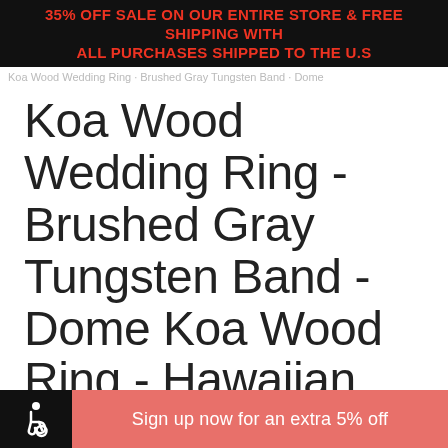35% OFF SALE ON OUR ENTIRE STORE & FREE SHIPPING With ALL Purchases Shipped to The U.S
Koa Wood Wedding Ring · Brushed Gray Tungsten Band · Dome
Koa Wood Wedding Ring - Brushed Gray Tungsten Band - Dome Koa Wood Ring - Hawaiian Koa Wood - 6mm - Mens - Comfort Fit
Sign up now for an extra 5% off